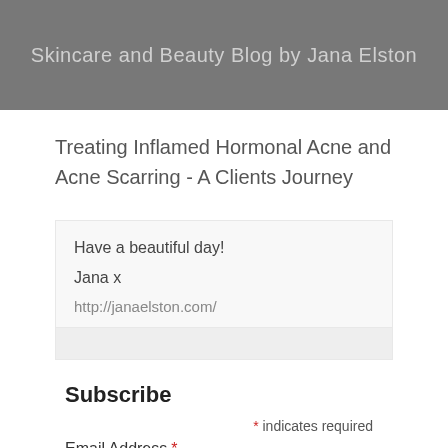Skincare and Beauty Blog by Jana Elston
Treating Inflamed Hormonal Acne and Acne Scarring - A Clients Journey
Have a beautiful day!
Jana x
http://janaelston.com/
Subscribe
* indicates required
Email Address *